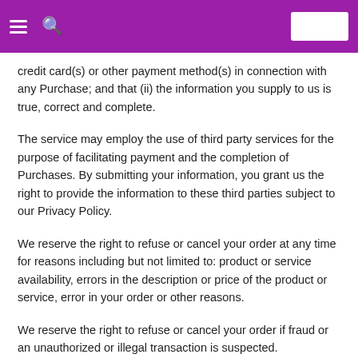credit card(s) or other payment method(s) in connection with any Purchase; and that (ii) the information you supply to us is true, correct and complete.
The service may employ the use of third party services for the purpose of facilitating payment and the completion of Purchases. By submitting your information, you grant us the right to provide the information to these third parties subject to our Privacy Policy.
We reserve the right to refuse or cancel your order at any time for reasons including but not limited to: product or service availability, errors in the description or price of the product or service, error in your order or other reasons.
We reserve the right to refuse or cancel your order if fraud or an unauthorized or illegal transaction is suspected.
Customers paying through our secure checkout page, can expect to